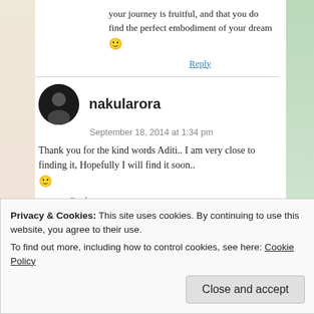your journey is fruitful, and that you do find the perfect embodiment of your dream 🙂
Reply
nakularora
September 18, 2014 at 1:34 pm
Thank you for the kind words Aditi.. I am very close to finding it, Hopefully I will find it soon.. 🙂
Reply
Privacy & Cookies: This site uses cookies. By continuing to use this website, you agree to their use.
To find out more, including how to control cookies, see here: Cookie Policy
Close and accept